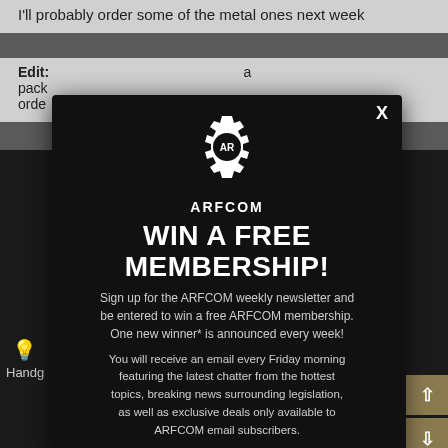I'll probably order some of the metal ones next week
Edit: [partial text visible] a pack... order...
[Figure (screenshot): ARFCOM website screenshot showing dark background with partial forum content]
WIN A FREE MEMBERSHIP!
Sign up for the ARFCOM weekly newsletter and be entered to win a free ARFCOM membership. One new winner* is announced every week!
You will receive an email every Friday morning featuring the latest chatter from the hottest topics, breaking news surrounding legislation, as well as exclusive deals only available to ARFCOM email subscribers.